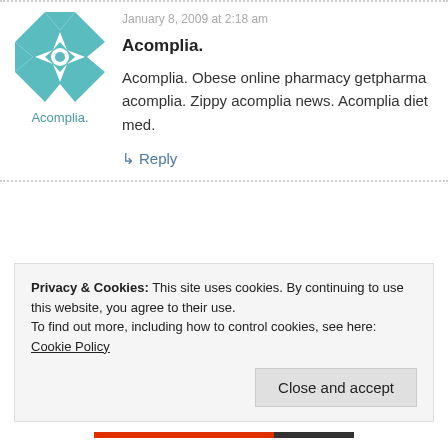[Figure (illustration): Teal and white geometric quilt-pattern avatar icon]
Acomplia.
January 8, 2009 at 2:18 am
Acomplia.
Acomplia. Obese online pharmacy getpharma acomplia. Zippy acomplia news. Acomplia diet med.
↳ Reply
Privacy & Cookies: This site uses cookies. By continuing to use this website, you agree to their use.
To find out more, including how to control cookies, see here: Cookie Policy
Close and accept